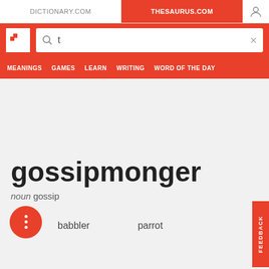DICTIONARY.COM | THESAURUS.COM
[Figure (screenshot): Thesaurus.com website screenshot showing search bar with letter 't', navigation menu with MEANINGS, GAMES, LEARN, WRITING, WORD OF THE DAY]
gossipmonger
noun gossip
babbler   parrot